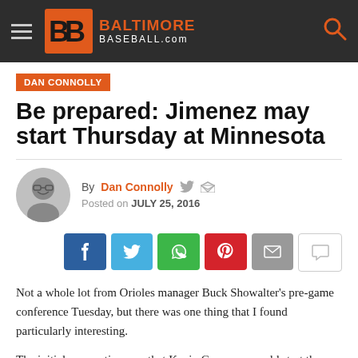BaltimoreBaseball.com
DAN CONNOLLY
Be prepared: Jimenez may start Thursday at Minnesota
By Dan Connolly  Posted on JULY 25, 2016
[Figure (other): Social share buttons: Facebook, Twitter, WhatsApp, Pinterest, Email, Comment]
Not a whole lot from Orioles manager Buck Showalter's pre-game conference Tuesday, but there was one thing that I found particularly interesting.
The initial assumption was that Kevin Gausman would start the one-game make-up trip to Minnesota on Thursday. But